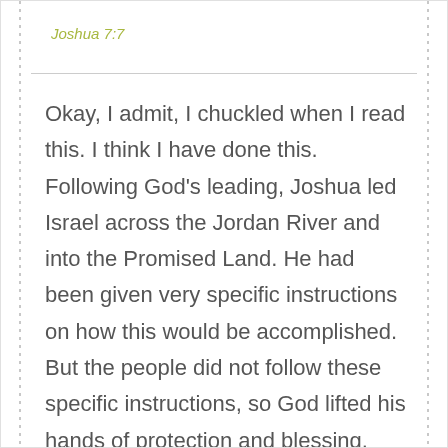Joshua 7:7
Okay, I admit, I chuckled when I read this. I think I have done this. Following God’s leading, Joshua led Israel across the Jordan River and into the Promised Land. He had been given very specific instructions on how this would be accomplished. But the people did not follow these specific instructions, so God lifted his hands of protection and blessing.